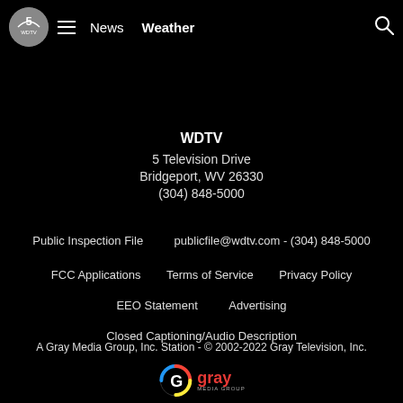WDTV News Weather
WDTV
5 Television Drive
Bridgeport, WV 26330
(304) 848-5000
Public Inspection File    publicfile@wdtv.com - (304) 848-5000
FCC Applications    Terms of Service    Privacy Policy
EEO Statement    Advertising
Closed Captioning/Audio Description
A Gray Media Group, Inc. Station - © 2002-2022 Gray Television, Inc.
[Figure (logo): Gray Media Group logo with colorful G icon and 'gray' text in red]